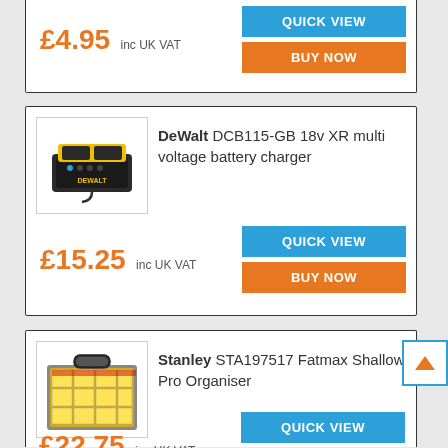£4.95 inc UK VAT
QUICK VIEW
BUY NOW
DeWalt DCB115-GB 18v XR multi voltage battery charger
£15.25 inc UK VAT
QUICK VIEW
BUY NOW
Stanley STA197517 Fatmax Shallow Pro Organiser
£22.75 inc UK VAT
QUICK VIEW
BUY NOW